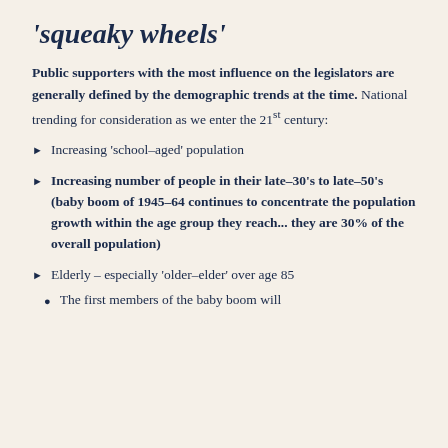'squeaky wheels'
Public supporters with the most influence on the legislators are generally defined by the demographic trends at the time. National trending for consideration as we enter the 21st century:
Increasing ‘school-aged’ population
Increasing number of people in their late-30’s to late-50’s (baby boom of 1945-64 continues to concentrate the population growth within the age group they reach... they are 30% of the overall population)
Elderly – especially ‘older-elder’ over age 85
The first members of the baby boom will